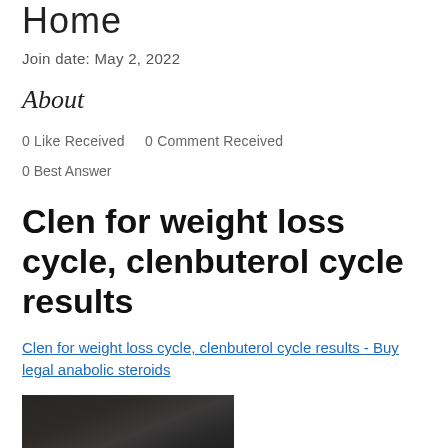Home
Join date: May 2, 2022
About
0 Like Received    0 Comment Received
0 Best Answer
Clen for weight loss cycle, clenbuterol cycle results
Clen for weight loss cycle, clenbuterol cycle results - Buy legal anabolic steroids
[Figure (photo): Dark blurred image, partially visible at bottom of page]